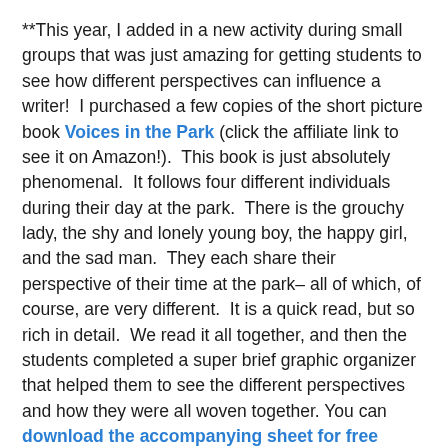**This year, I added in a new activity during small groups that was just amazing for getting students to see how different perspectives can influence a writer!  I purchased a few copies of the short picture book Voices in the Park (click the affiliate link to see it on Amazon!).  This book is just absolutely phenomenal.  It follows four different individuals during their day at the park.  There is the grouchy lady, the shy and lonely young boy, the happy girl, and the sad man.  They each share their perspective of their time at the park– all of which, of course, are very different.  It is a quick read, but so rich in detail.  We read it all together, and then the students completed a super brief graphic organizer that helped them to see the different perspectives and how they were all woven together. You can download the accompanying sheet for free HERE.